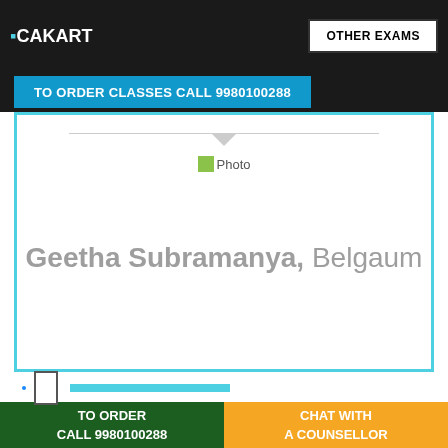[Figure (logo): CAKART logo in top left]
OTHER EXAMS
TO ORDER CLASSES CALL 9980100288
[Figure (photo): Photo placeholder in card]
Geetha Subramanya, Belgaum
TO ORDER
CALL 9980100288
CHAT WITH
A COUNSELLOR